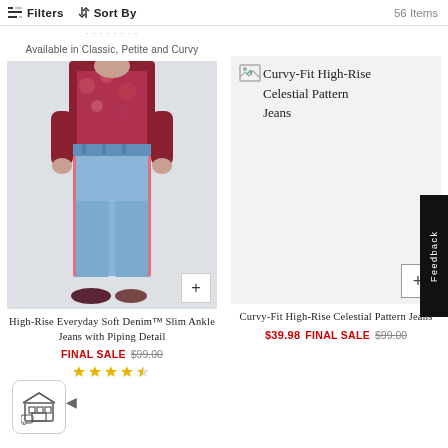Filters  Sort By  56 Items
Available in Classic, Petite and Curvy
[Figure (photo): Woman wearing High-Rise Everyday Soft Denim Slim Ankle Jeans with pink piping detail and a floral top]
High-Rise Everyday Soft Denim™ Slim Ankle Jeans with Piping Detail
FINAL SALE $99.00
[Figure (illustration): Broken image placeholder icon for Curvy-Fit High-Rise Celestial Pattern Jeans]
Curvy-Fit High-Rise Celestial Pattern Jeans
Curvy-Fit High-Rise Celestial Pattern Jeans
$39.98 FINAL SALE $99.00